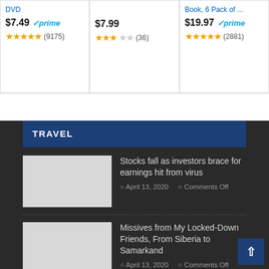DVD — $7.49 prime, 4.5 stars (9175)
$7.99, 2.5 stars (36)
Book, 6 Pack of … — $19.97 prime, 4.5 stars (2881)
TRAVEL
Stocks fall as investors brace for earnings hit from virus
April 13, 2020  Comments Off
Missives from My Locked-Down Friends, From Siberia to Samarkand
April 13, 2020  Comments Off